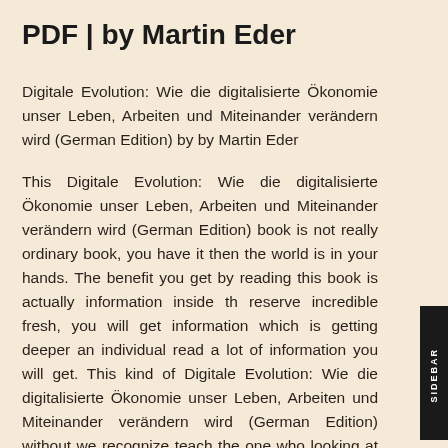PDF | by Martin Eder
Digitale Evolution: Wie die digitalisierte Ökonomie unser Leben, Arbeiten und Miteinander verändern wird (German Edition) by by Martin Eder
This Digitale Evolution: Wie die digitalisierte Ökonomie unser Leben, Arbeiten und Miteinander verändern wird (German Edition) book is not really ordinary book, you have it then the world is in your hands. The benefit you get by reading this book is actually information inside the reserve incredible fresh, you will get information which is getting deeper an individual read a lot of information you will get. This kind of Digitale Evolution: Wie die digitalisierte Ökonomie unser Leben, Arbeiten und Miteinander verändern wird (German Edition) without we recognize teach the one who looking at it become critical in imagining and analyzing. Don't be worn: Digitale Evolution: